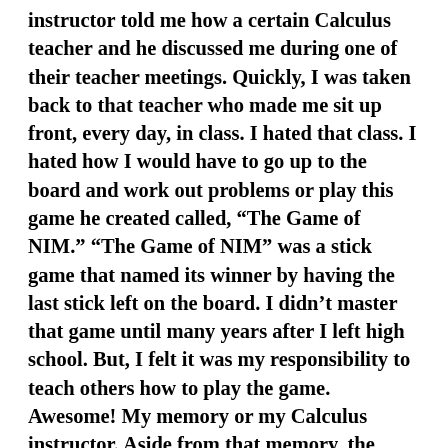instructor told me how a certain Calculus teacher and he discussed me during one of their teacher meetings. Quickly, I was taken back to that teacher who made me sit up front, every day, in class. I hated that class. I hated how I would have to go up to the board and work out problems or play this game he created called, “The Game of NIM.” “The Game of NIM” was a stick game that named its winner by having the last stick left on the board. I didn’t master that game until many years after I left high school. But, I felt it was my responsibility to teach others how to play the game. Awesome! My memory or my Calculus instructor. Aside from that memory, the Accounting Instructor advised me that my Calculus teacher thought that I could be great if only I had committed or dedicated myself.